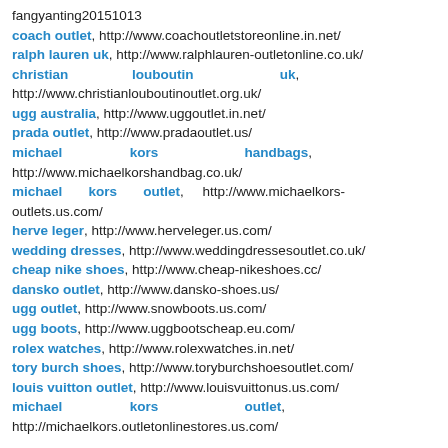fangyanting20151013
coach outlet, http://www.coachoutletstoreonline.in.net/
ralph lauren uk, http://www.ralphlauren-outletonline.co.uk/
christian louboutin uk, http://www.christianlouboutinoutlet.org.uk/
ugg australia, http://www.uggoutlet.in.net/
prada outlet, http://www.pradaoutlet.us/
michael kors handbags, http://www.michaelkorshandbag.co.uk/
michael kors outlet, http://www.michaelkors-outlets.us.com/
herve leger, http://www.herveleger.us.com/
wedding dresses, http://www.weddingdressesoutlet.co.uk/
cheap nike shoes, http://www.cheap-nikeshoes.cc/
dansko outlet, http://www.dansko-shoes.us/
ugg outlet, http://www.snowboots.us.com/
ugg boots, http://www.uggbootscheap.eu.com/
rolex watches, http://www.rolexwatches.in.net/
tory burch shoes, http://www.toryburchshoesoutlet.com/
louis vuitton outlet, http://www.louisvuittonus.us.com/
michael kors outlet, http://michaelkors.outletonlinestores.us.com/